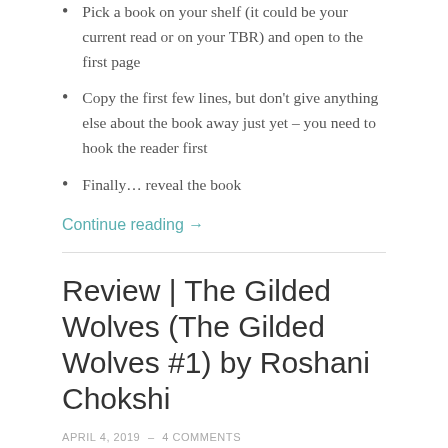Pick a book on your shelf (it could be your current read or on your TBR) and open to the first page
Copy the first few lines, but don't give anything else about the book away just yet – you need to hook the reader first
Finally… reveal the book
Continue reading →
Review | The Gilded Wolves (The Gilded Wolves #1) by Roshani Chokshi
APRIL 4, 2019  –  4 COMMENTS
[Figure (photo): Book cover or related photo at the bottom of the post, partially visible]